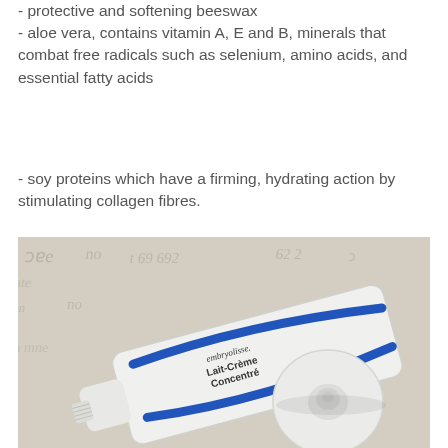- protective and softening beeswax
- aloe vera, contains vitamin A, E and B, minerals that combat free radicals such as selenium, amino acids, and essential fatty acids
- soy proteins which have a firming, hydrating action by stimulating collagen fibres.
[Figure (photo): Photo of an Embryolisse Lait-Crème Concentré tube lying on a decorative cloth background with the cap placed beside it]